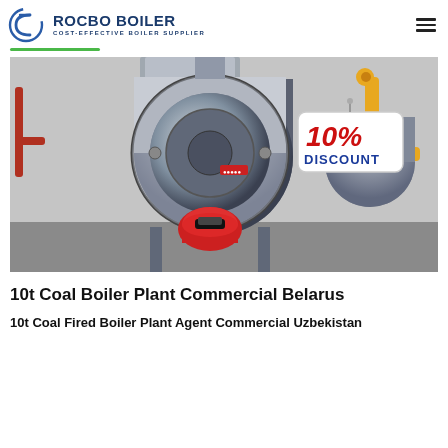ROCBO BOILER – COST-EFFECTIVE BOILER SUPPLIER
[Figure (photo): Industrial gas/oil fired boiler unit in a factory setting, with a large cylindrical steel vessel, red burner at front, yellow gas pipes on right side, and a 10% DISCOUNT badge overlaid on upper right of the image.]
10t Coal Boiler Plant Commercial Belarus
10t Coal Fired Boiler Plant Agent Commercial Uzbekistan